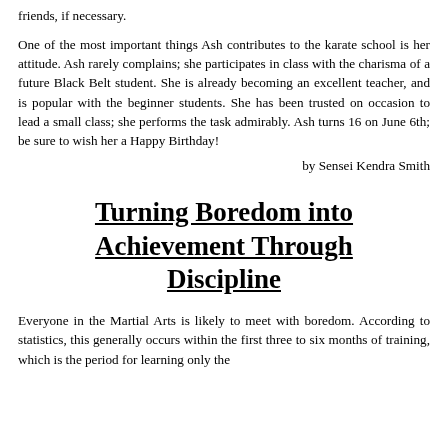friends, if necessary.
One of the most important things Ash contributes to the karate school is her attitude. Ash rarely complains; she participates in class with the charisma of a future Black Belt student. She is already becoming an excellent teacher, and is popular with the beginner students. She has been trusted on occasion to lead a small class; she performs the task admirably. Ash turns 16 on June 6th; be sure to wish her a Happy Birthday!
by Sensei Kendra Smith
Turning Boredom into Achievement Through Discipline
Everyone in the Martial Arts is likely to meet with boredom. According to statistics, this generally occurs within the first three to six months of training, which is the period for learning only the